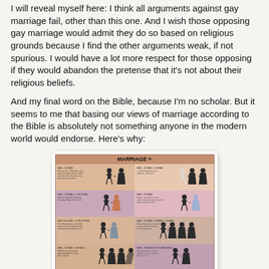I will reveal myself here: I think all arguments against gay marriage fail, other than this one. And I wish those opposing gay marriage would admit they do so based on religious grounds because I find the other arguments weak, if not spurious. I would have a lot more respect for those opposing if they would abandon the pretense that it's not about their religious beliefs.
And my final word on the Bible, because I'm no scholar. But it seems to me that basing our views of marriage according to the Bible is absolutely not something anyone in the modern world would endorse. Here's why:
[Figure (infographic): Infographic titled 'MARRIAGE =' showing various biblical marriage types with human figures representing different combinations of men and women, including notes about biblical marriage customs.]
So. Might...